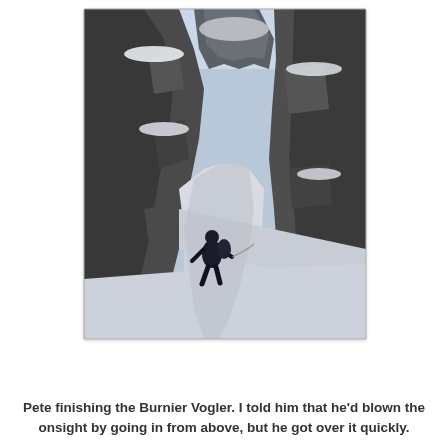[Figure (photo): A person climbing through a narrow rocky couloir filled with snow and ice. Large dark rock walls flank either side; snow and ice fill the gully below. The climber is visible near the center-left, dressed in dark clothing, navigating between the rocks.]
Pete finishing the Burnier Vogler. I told him that he'd blown the onsight by going in from above, but he got over it quickly.